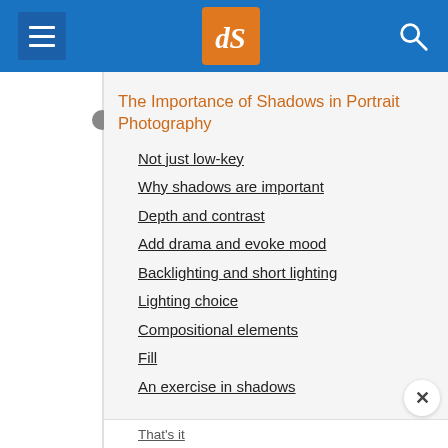[Figure (screenshot): Website navigation bar with menu icon, dPS logo in orange, and search icon on blue background]
The Importance of Shadows in Portrait Photography
Not just low-key
Why shadows are important
Depth and contrast
Add drama and evoke mood
Backlighting and short lighting
Lighting choice
Compositional elements
Fill
An exercise in shadows
That's it